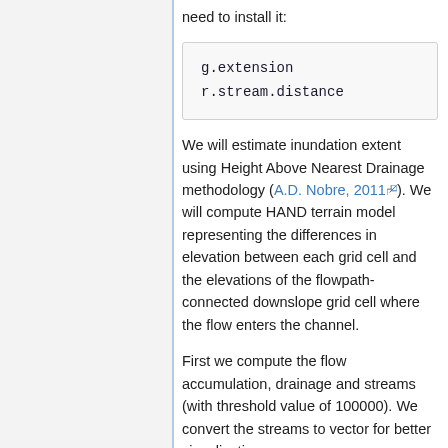need to install it:
g.extension
r.stream.distance
We will estimate inundation extent using Height Above Nearest Drainage methodology (A.D. Nobre, 2011). We will compute HAND terrain model representing the differences in elevation between each grid cell and the elevations of the flowpath-connected downslope grid cell where the flow enters the channel.
First we compute the flow accumulation, drainage and streams (with threshold value of 100000). We convert the streams to vector for better visualization.
r.watershed